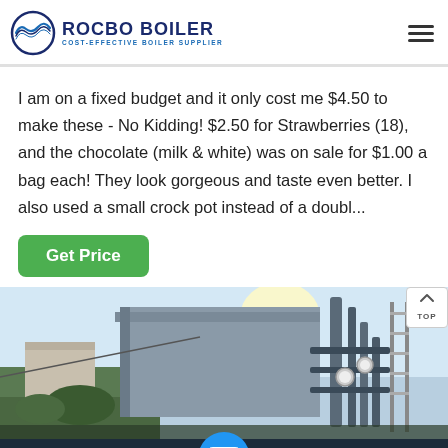[Figure (logo): Rocbo Boiler logo with circular wave icon and text 'ROCBO BOILER - COST-EFFECTIVE BOILER SUPPLIER']
I am on a fixed budget and it only cost me $4.50 to make these - No Kidding! $2.50 for Strawberries (18), and the chocolate (milk & white) was on sale for $1.00 a bag each! They look gorgeous and taste even better. I also used a small crock pot instead of a doubl...
Get Price
[Figure (photo): Industrial boiler equipment photograph showing large metal machinery with pipes, gauges, and scaffolding against a bright sky]
Send Message
Inquiry Online